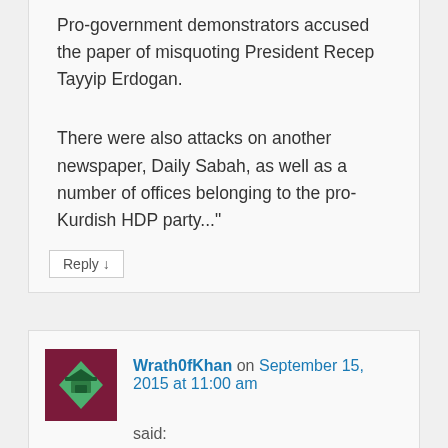Pro-government demonstrators accused the paper of misquoting President Recep Tayyip Erdogan.
There were also attacks on another newspaper, Daily Sabah, as well as a number of offices belonging to the pro-Kurdish HDP party..."
Reply ↓
Wrath0fKhan on September 15, 2015 at 11:00 am said:
Haze chokes Indonesia, Malaysia and